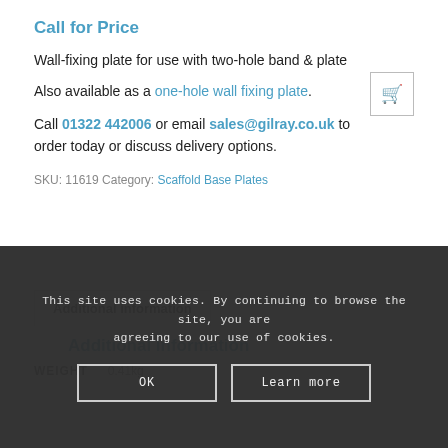Call for Price
Wall-fixing plate for use with two-hole band & plate
Also available as a one-hole wall fixing plate.
Call 01322 442006 or email sales@gilray.co.uk to order today or discuss delivery options.
SKU: 11619  Category: Scaffold Base Plates
Additional information
Additional information
WEIGHT  0.41kg
This site uses cookies. By continuing to browse the site, you are agreeing to our use of cookies.
OK
Learn more